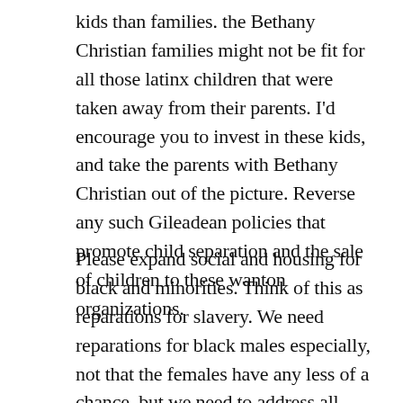kids than families. the Bethany Christian families might not be fit for all those latinx children that were taken away from their parents. I'd encourage you to invest in these kids, and take the parents with Bethany Christian out of the picture. Reverse any such Gileadean policies that promote child separation and the sale of children to these wanton organizations.
Please expand social and housing for black and minorities. Think of this as reparations for slavery. We need reparations for black males especially, not that the females have any less of a chance, but we need to address all blacks as a whole. Trenton, my husband in commitment